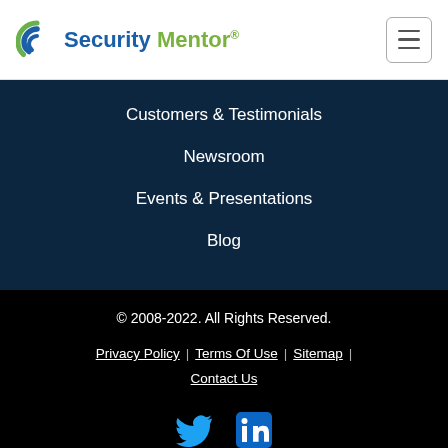[Figure (logo): Security Mentor logo with blue swirl icon and text 'Security Mentor']
Customers & Testimonials
Newsroom
Events & Presentations
Blog
© 2008-2022. All Rights Reserved. | Privacy Policy | Terms Of Use | Sitemap | Contact Us